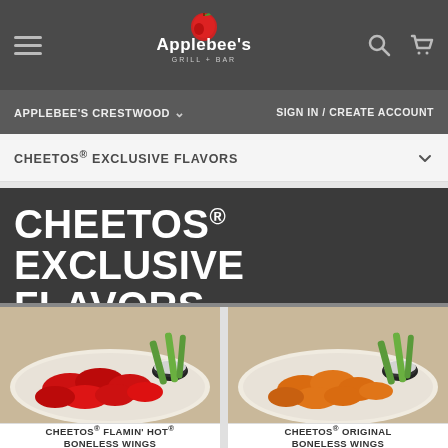[Figure (screenshot): Applebee's Grill + Bar website header with hamburger menu, logo, search and cart icons on dark gray background]
APPLEBEE'S CRESTWOOD  ∨  |  SIGN IN / CREATE ACCOUNT
CHEETOS® EXCLUSIVE FLAVORS
CHEETOS® EXCLUSIVE FLAVORS
[Figure (photo): Plate of Cheetos Flamin' Hot Boneless Wings — bright red coated chicken pieces with celery sticks and dipping sauce]
CHEETOS® FLAMIN' HOT® BONELESS WINGS
[Figure (photo): Plate of Cheetos Original Boneless Wings — orange coated chicken pieces with celery sticks and dipping sauce]
CHEETOS® ORIGINAL BONELESS WINGS